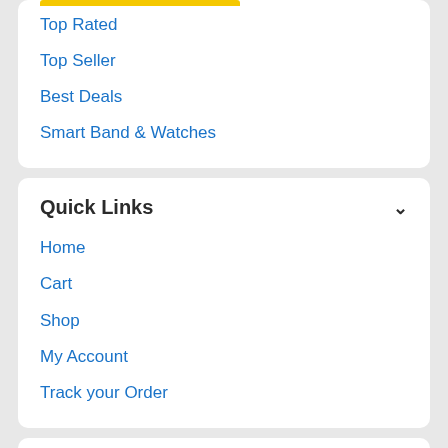Top Rated
Top Seller
Best Deals
Smart Band & Watches
Quick Links
Home
Cart
Shop
My Account
Track your Order
About Us
About